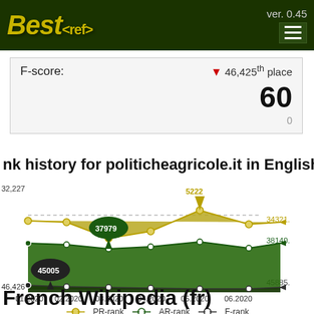Best<ref> ver. 0.45
F-score: ▼ 46,425th place
60
0
nk history for politicheagricole.it in English Wikipe
[Figure (line-chart): Rank history for politicheagricole.it in English Wikipedia]
○— PR-rank  ○— AR-rank  ○— F-rank
French Wikipedia (fr)